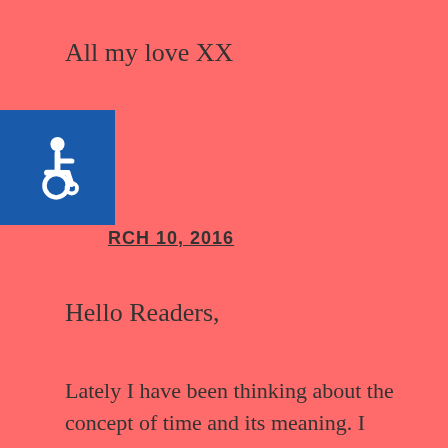All my love XX
[Figure (illustration): Blue square accessibility/wheelchair icon]
RCH 10, 2016
Hello Readers,
Lately I have been thinking about the concept of time and its meaning. I thought I would share my thoughts and questions with you and maybe 'open a new door' as to how time is perceived.
This website uses cookies in order to deliver the best service to you. You can read the privacy policy here
Privacy Preferences
This website uses cookies
I Agree
Decline
Accept